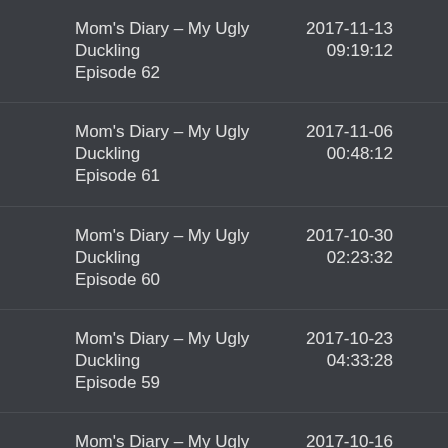Mom's Diary – My Ugly Duckling Episode 62	2017-11-13 09:19:12
Mom's Diary – My Ugly Duckling Episode 61	2017-11-06 00:48:12
Mom's Diary – My Ugly Duckling Episode 60	2017-10-30 02:23:32
Mom's Diary – My Ugly Duckling Episode 59	2017-10-23 04:33:28
Mom's Diary – My Ugly Duckling Episode 58	2017-10-16 01:27:50
Mom's Diary – My Ugly Duckling Episode 57.3	2017-10-09 03:29:29
Mom's Diary – My Ugly Duckling	2017-10-09